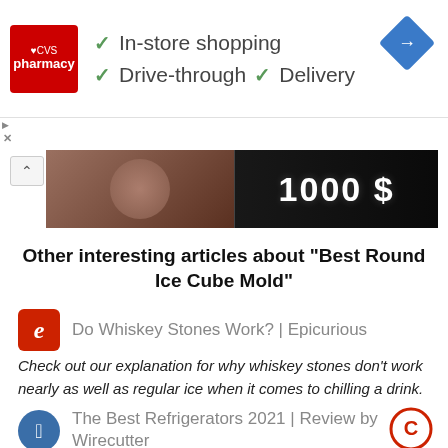[Figure (screenshot): CVS Pharmacy ad banner with checkmarks for In-store shopping, Drive-through, and Delivery, plus a blue navigation diamond icon]
[Figure (photo): Dark advertisement image strip showing '1000 $' text against dark background]
Other interesting articles about "Best Round Ice Cube Mold"
Do Whiskey Stones Work? | Epicurious
Check out our explanation for why whiskey stones don't work nearly as well as regular ice when it comes to chilling a drink.
The Best Refrigerators 2021 | Review by Wirecutter
We surveyed 5,000+ readers and analyzed 28,000+